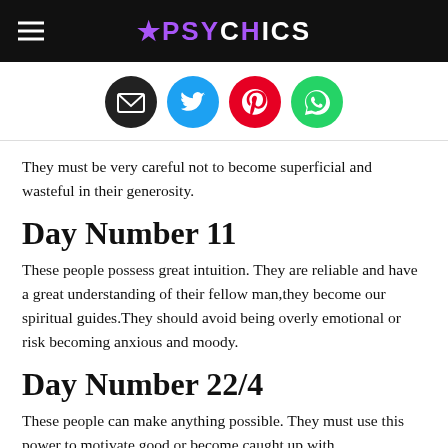★PSYCHICS
[Figure (illustration): Four social sharing icons: email (black), Twitter (blue), Pinterest (red), WhatsApp (green)]
They must be very careful not to become superficial and wasteful in their generosity.
Day Number 11
These people possess great intuition. They are reliable and have a great understanding of their fellow man,they become our spiritual guides.They should avoid being overly emotional or risk becoming anxious and moody.
Day Number 22/4
These people can make anything possible. They must use this power to motivate good or become caught up with